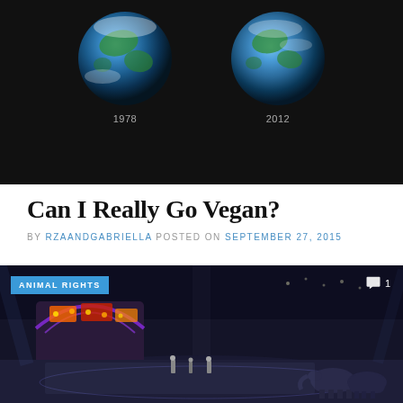[Figure (photo): Two globe images of Earth side by side on a dark background, labeled 1978 and 2012, showing comparison of Arctic ice or vegetation]
Can I Really Go Vegan?
BY RZAANDGABRIELLA POSTED ON SEPTEMBER 27, 2015
[Figure (photo): Circus performance scene at night with colorful lights, performers, and elephants visible; labeled ANIMAL RIGHTS with a comment count of 1]